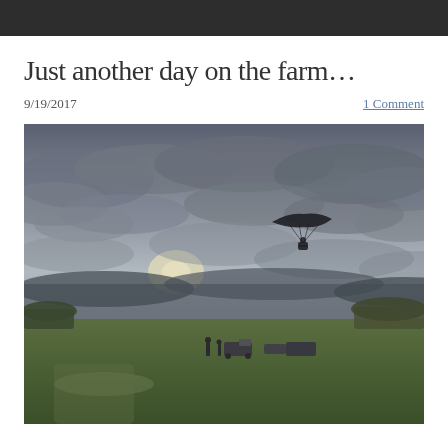Just another day on the farm…
9/19/2017
1 Comment
[Figure (photo): Outdoor farm field photo showing a paraglider silhouetted against a cloudy, overcast sky with the sun partially breaking through. Green fields stretch to the horizon with trees along the edges. Several vehicles and people are visible on the ground in the lower right area.]